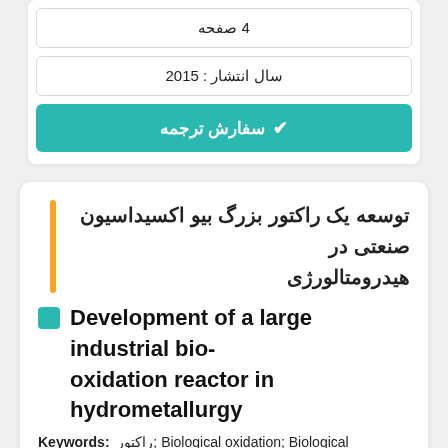4 صفحه
سال انتشار : 2015
✔ سفارش ترجمه
توسعه یک راکتور بزرگ بیو اکسیداسیون صنعتی در هیدرومتالورژی
Development of a large industrial bio-oxidation reactor in hydrometallurgy
Keywords: راکتور; Biological oxidation; Biological